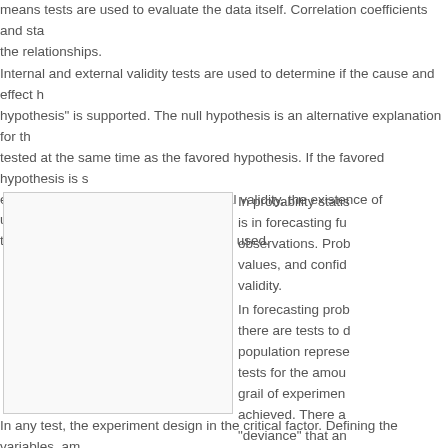means tests are used to evaluate the data itself. Correlation coefficients and sta... the relationships.
Internal and external validity tests are used to determine if the cause and effect h... hypothesis" is supported. The null hypothesis is an alternative explanation for th... tested at the same time as the favored hypothesis. If the favored hypothesis is s... established to some degree. In external validity, the existence of unidentified ca... the Students T, and Effect statistics are used.
[Figure (other): Empty white rectangular box with light gray border, likely a placeholder for a figure or image.]
In probability statis... is in forecasting fu... observations. Prob... values, and confid... validity.
In forecasting prob... there are tests to d... population represe... tests for the amou... grail of experimen... achieved. There a... "deviance" that an... population norm.
In any test, the experiment design in the critical factor. Defining the variables, am... describe the expected cause and effect relationship and also describe it in...